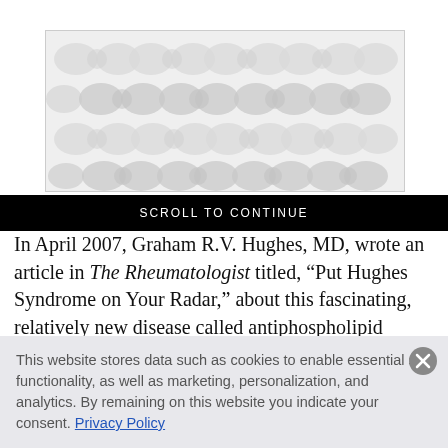[Figure (illustration): Decorative pattern image with grey blob/cell-like shapes on a light background, shown in a bordered box]
SCROLL TO CONTINUE
In April 2007, Graham R.V. Hughes, MD, wrote an article in The Rheumatologist titled, “Put Hughes Syndrome on Your Radar,” about this fascinating, relatively new disease called antiphospholipid syndrome (APS) that he had described some three decades earlier with Aziz Gharavi, MD, and E. Nigel...
This website stores data such as cookies to enable essential site functionality, as well as marketing, personalization, and analytics. By remaining on this website you indicate your consent. Privacy Policy